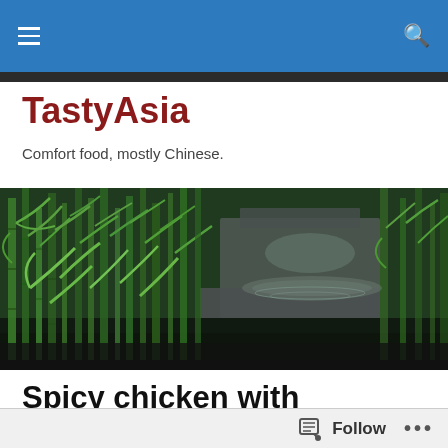Navigation bar with hamburger menu and search icon
TastyAsia
Comfort food, mostly Chinese.
[Figure (photo): Hero image of bamboo garden with stone structure in background, green bamboo leaves in foreground]
Spicy chicken with Chinese leeks
I'm back from Beijing and for this first TastyAsia recipe
Follow ...